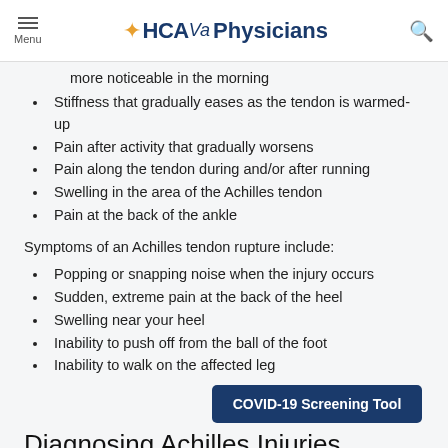Menu | HCAVa Physicians | Search
more noticeable in the morning
Stiffness that gradually eases as the tendon is warmed-up
Pain after activity that gradually worsens
Pain along the tendon during and/or after running
Swelling in the area of the Achilles tendon
Pain at the back of the ankle
Symptoms of an Achilles tendon rupture include:
Popping or snapping noise when the injury occurs
Sudden, extreme pain at the back of the heel
Swelling near your heel
Inability to push off from the ball of the foot
Inability to walk on the affected leg
COVID-19 Screening Tool
Diagnosing Achilles Injuries